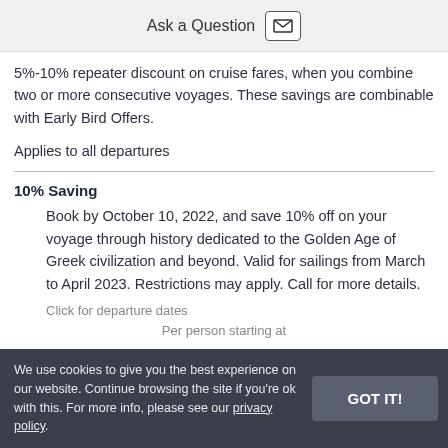Ask a Question
5%-10% repeater discount on cruise fares, when you combine two or more consecutive voyages. These savings are combinable with Early Bird Offers.
Applies to all departures
10% Saving
Book by October 10, 2022, and save 10% off on your voyage through history dedicated to the Golden Age of Greek civilization and beyond. Valid for sailings from March to April 2023. Restrictions may apply. Call for more details.
Click for departure dates
Per person starting at
We use cookies to give you the best experience on our website. Continue browsing the site if you're ok with this. For more info, please see our privacy policy.